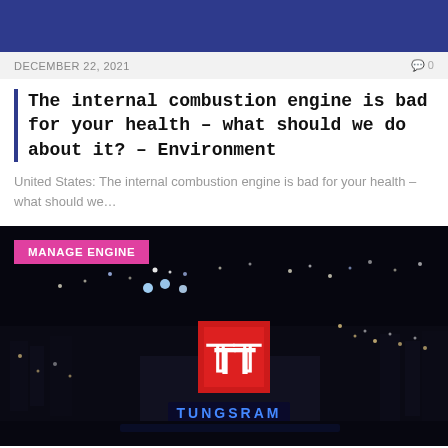[Figure (other): Dark blue header banner bar]
DECEMBER 22, 2021   🗨 0
The internal combustion engine is bad for your health – what should we do about it? – Environment
United States: The internal combustion engine is bad for your health – what should we…
[Figure (photo): Night aerial photograph of a city with the Tungsram logo (red square with TT letters) illuminated on a building rooftop, and TUNGSRAM text in blue lights below it.]